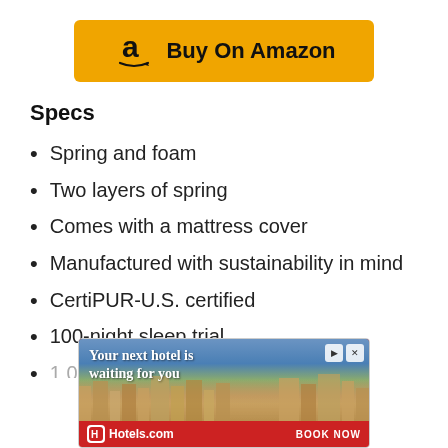[Figure (other): Amazon 'Buy On Amazon' yellow button with Amazon logo]
Specs
Spring and foam
Two layers of spring
Comes with a mattress cover
Manufactured with sustainability in mind
CertiPUR-U.S. certified
100-night sleep trial
[Figure (other): Hotels.com advertisement banner: 'Your next hotel is waiting for you' with a photo of a resort and 'BOOK NOW' text]